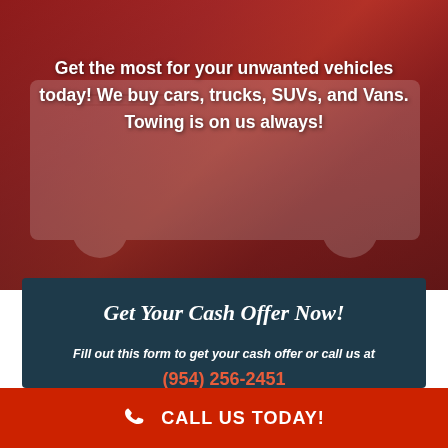Get the most for your unwanted vehicles today! We buy cars, trucks, SUVs, and Vans. Towing is on us always!
Get Your Cash Offer Now!
Fill out this form to get your cash offer or call us at
(954) 256-2451
Name
CALL US TODAY!